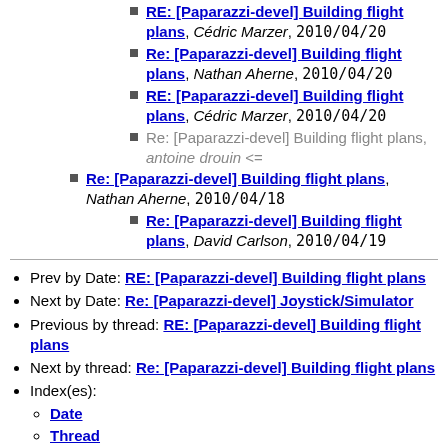RE: [Paparazzi-devel] Building flight plans, Cédric Marzer, 2010/04/20
Re: [Paparazzi-devel] Building flight plans, Nathan Aherne, 2010/04/20
RE: [Paparazzi-devel] Building flight plans, Cédric Marzer, 2010/04/20
Re: [Paparazzi-devel] Building flight plans, antoine drouin <=
Re: [Paparazzi-devel] Building flight plans, Nathan Aherne, 2010/04/18
Re: [Paparazzi-devel] Building flight plans, David Carlson, 2010/04/19
Prev by Date: RE: [Paparazzi-devel] Building flight plans
Next by Date: Re: [Paparazzi-devel] Joystick/Simulator
Previous by thread: RE: [Paparazzi-devel] Building flight plans
Next by thread: Re: [Paparazzi-devel] Building flight plans
Index(es):
Date
Thread